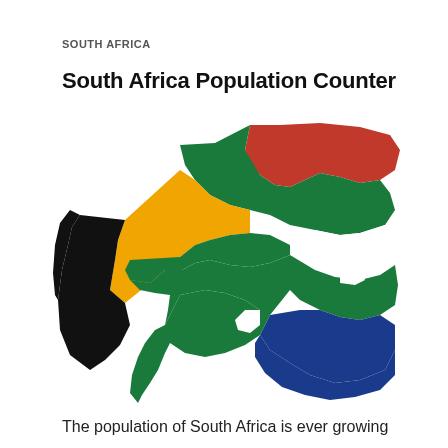SOUTH AFRICA
South Africa Population Counter
[Figure (map): Map of South Africa filled with the South African flag colors and design — red in the upper right region, green in the center and right, black triangle on the left with a gold/yellow chevron, white stripes, and blue in the lower right. The western coastal region (Namaqualand/Northern Cape) is shown in black.]
The population of South Africa is ever growing